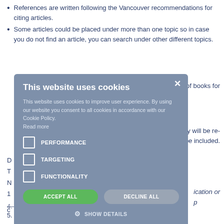References are written following the Vancouver recommendations for citing articles.
Some articles could be placed under more than one topic so in case you do not find an article, you can search under other different topics.
apter of books for
graphy will be re- will be included.
D
T
N
1
ication or
p
c
[Figure (screenshot): Cookie consent modal dialog with title 'This website uses cookies', body text, checkboxes for PERFORMANCE, TARGETING, FUNCTIONALITY, ACCEPT ALL and DECLINE ALL buttons, and a SHOW DETAILS link with gear icon. Modal has a blue-grey background and an X close button.]
4. Conflict of interest (COI)
5. Informed consent